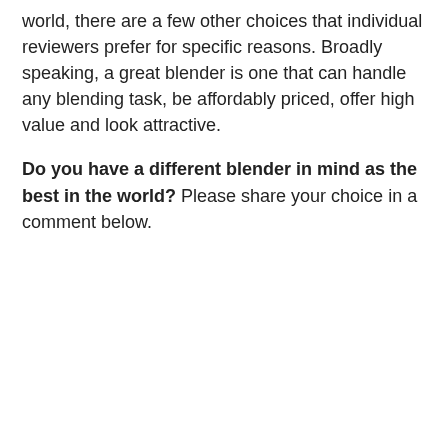world, there are a few other choices that individual reviewers prefer for specific reasons. Broadly speaking, a great blender is one that can handle any blending task, be affordably priced, offer high value and look attractive.
Do you have a different blender in mind as the best in the world? Please share your choice in a comment below.